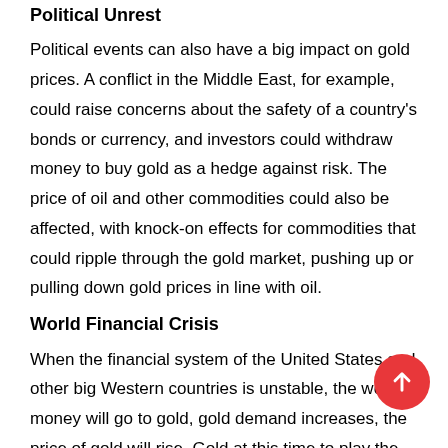Political Unrest
Political events can also have a big impact on gold prices. A conflict in the Middle East, for example, could raise concerns about the safety of a country's bonds or currency, and investors could withdraw money to buy gold as a hedge against risk. The price of oil and other commodities could also be affected, with knock-on effects for commodities that could ripple through the gold market, pushing up or pulling down gold prices in line with oil.
World Financial Crisis
When the financial system of the United States and other big Western countries is unstable, the world's money will go to gold, gold demand increases, the price of gold will rise. Gold at this time to play the role